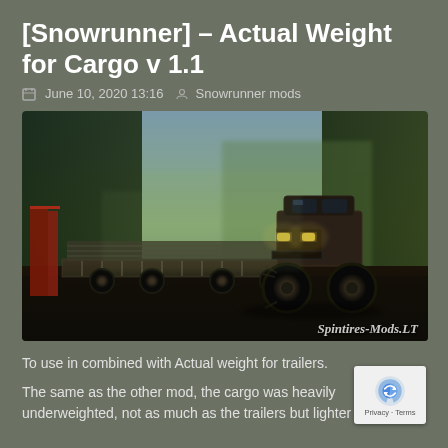[Snowrunner] – Actual Weight for Cargo v 1.1
June 10, 2020 13:16  Snowrunner mods
[Figure (screenshot): In-game screenshot from Snowrunner/Spintires showing a large off-road truck with oversized tires pulling a flatbed trailer loaded with cargo, set in a muddy forest environment. Watermark reads 'Spintires-Mods.LT']
To use in combined with Actual weight for trailers.
The same as the other mod, the cargo was heavily underweighted, not as much as the trailers but lighter